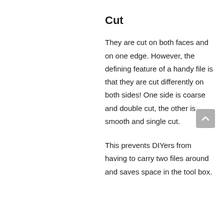Cut
They are cut on both faces and on one edge. However, the defining feature of a handy file is that they are cut differently on both sides! One side is coarse and double cut, the other is smooth and single cut.
This prevents DIYers from having to carry two files around and saves space in the tool box.